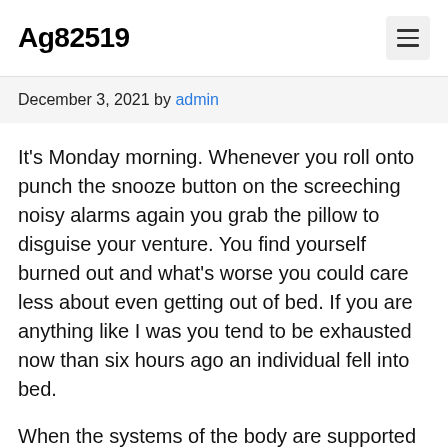Ag82519
December 3, 2021 by admin
It's Monday morning. Whenever you roll onto punch the snooze button on the screeching noisy alarms again you grab the pillow to disguise your venture. You find yourself burned out and what's worse you could care less about even getting out of bed. If you are anything like I was you tend to be exhausted now than six hours ago an individual fell into bed.
When the systems of the body are supported properly with glyconutrition , the body system is